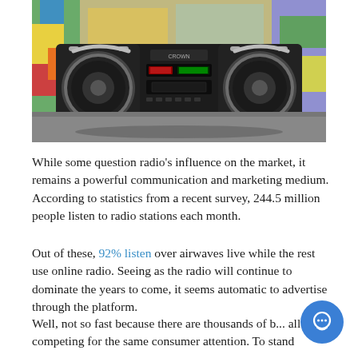[Figure (photo): A large black boombox/boom box stereo with two circular speakers and chrome handles, sitting on pavement in front of a colorful graffiti wall. The stereo has a CROWN brand label visible on the center panel.]
While some question radio’s influence on the market, it remains a powerful communication and marketing medium. According to statistics from a recent survey, 244.5 million people listen to radio stations each month.
Out of these, 92% listen over airwaves live while the rest use online radio. Seeing as the radio will continue to dominate the years to come, it seems automatic to advertise through the platform.
Well, not so fast because there are thousands of b... all competing for the same consumer attention. To stand